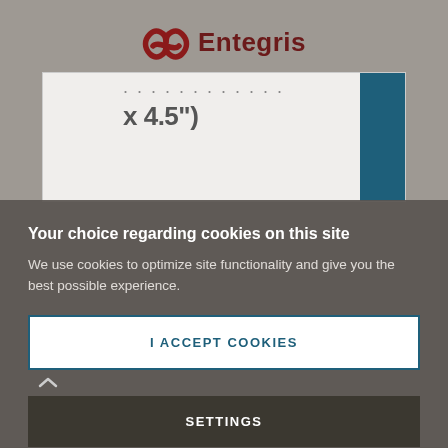[Figure (logo): Entegris company logo with red infinity-style symbol and 'Entegris' text in dark red/maroon]
x 4.5")
Your choice regarding cookies on this site
We use cookies to optimize site functionality and give you the best possible experience.
I ACCEPT COOKIES
SETTINGS